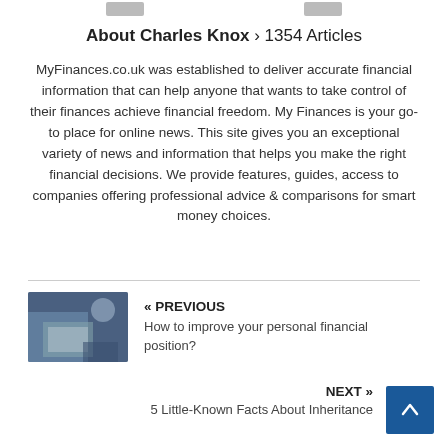About Charles Knox › 1354 Articles
MyFinances.co.uk was established to deliver accurate financial information that can help anyone that wants to take control of their finances achieve financial freedom. My Finances is your go-to place for online news. This site gives you an exceptional variety of news and information that helps you make the right financial decisions. We provide features, guides, access to companies offering professional advice & comparisons for smart money choices.
[Figure (photo): Thumbnail image of person working at a desk with laptop and documents]
« PREVIOUS
How to improve your personal financial position?
NEXT »
5 Little-Known Facts About Inheritance